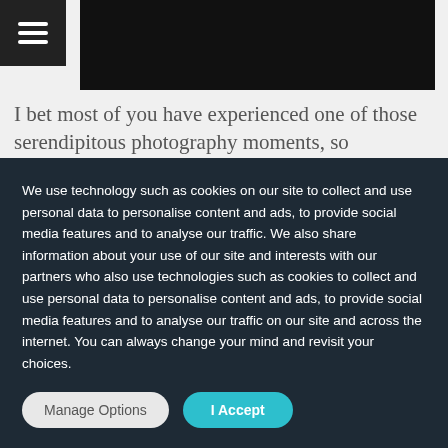[Figure (screenshot): Black rectangle representing a header/banner image area at the top of the page]
I bet most of you have experienced one of those serendipitous photography moments, so
We use technology such as cookies on our site to collect and use personal data to personalise content and ads, to provide social media features and to analyse our traffic. We also share information about your use of our site and interests with our partners who also use technologies such as cookies to collect and use personal data to personalise content and ads, to provide social media features and to analyse our traffic on our site and across the internet. You can always change your mind and revisit your choices.